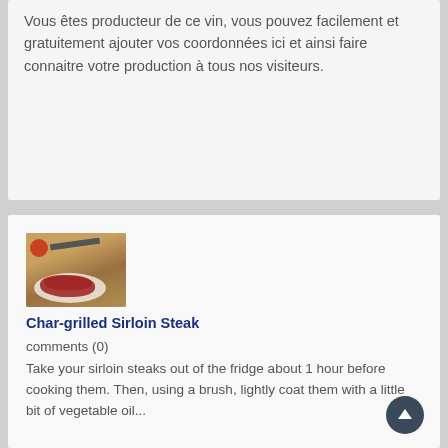Vous êtes producteur de ce vin, vous pouvez facilement et gratuitement ajouter vos coordonnées ici et ainsi faire connaitre votre production à tous nos visiteurs.
+ Ajouter mes coordonnées ici
[Figure (photo): Photo of raw sirloin steaks on a white plate with a tomato and a knife on a wooden cutting board]
Char-grilled Sirloin Steak
comments (0)
Take your sirloin steaks out of the fridge about 1 hour before cooking them. Then, using a brush, lightly coat them with a little bit of vegetable oil...